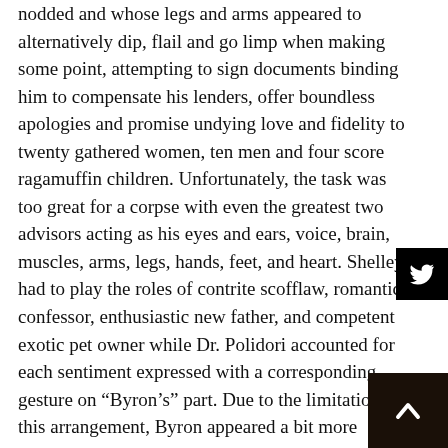nodded and whose legs and arms appeared to alternatively dip, flail and go limp when making some point, attempting to sign documents binding him to compensate his lenders, offer boundless apologies and promise undying love and fidelity to twenty gathered women, ten men and four score ragamuffin children. Unfortunately, the task was too great for a corpse with even the greatest two advisors acting as his eyes and ears, voice, brain, muscles, arms, legs, hands, feet, and heart. Shelley had to play the roles of contrite scofflaw, romantic confessor, enthusiastic new father, and competent exotic pet owner while Dr. Polidori accounted for each sentiment expressed with a corresponding gesture on “Byron’s” part. Due to the limitations of this arrangement, Byron appeared a bit more theatrical than usual, and at length his patrons took him for drunk rather than ill, and began demanding immediate redress.
“My honor has been tarnished,” said one financier. “I will have the satisfaction of a duel to the death with this dandy!”
“In that contest, sir, you would have a distinct advantage,”